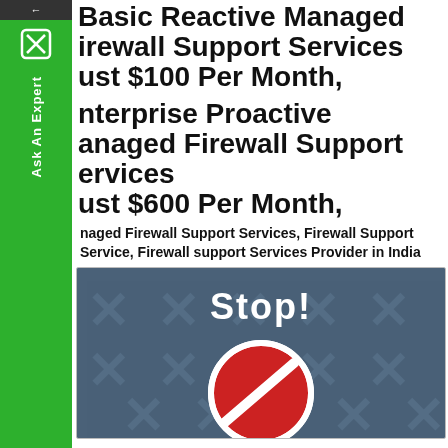Basic Reactive Managed Firewall Support Services Just $100 Per Month, Enterprise Proactive Managed Firewall Support Services Just $600 Per Month,
Managed Firewall Support Services, Firewall Support Service, Firewall support Services Provider in India
[Figure (illustration): Dark blue-gray background with faint X/firewall watermarks, white bold 'Stop!' text at top, and a red prohibition/no-entry circle symbol in the lower portion.]